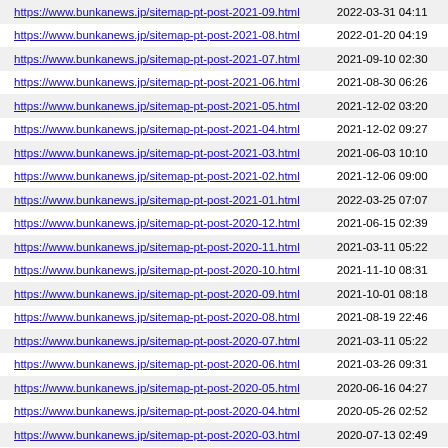| URL | Last Modified |
| --- | --- |
| https://www.bunkanews.jp/sitemap-pt-post-2021-09.html | 2022-03-31 04:11 |
| https://www.bunkanews.jp/sitemap-pt-post-2021-08.html | 2022-01-20 04:19 |
| https://www.bunkanews.jp/sitemap-pt-post-2021-07.html | 2021-09-10 02:30 |
| https://www.bunkanews.jp/sitemap-pt-post-2021-06.html | 2021-08-30 06:26 |
| https://www.bunkanews.jp/sitemap-pt-post-2021-05.html | 2021-12-02 03:20 |
| https://www.bunkanews.jp/sitemap-pt-post-2021-04.html | 2021-12-02 09:27 |
| https://www.bunkanews.jp/sitemap-pt-post-2021-03.html | 2021-06-03 10:10 |
| https://www.bunkanews.jp/sitemap-pt-post-2021-02.html | 2021-12-06 09:00 |
| https://www.bunkanews.jp/sitemap-pt-post-2021-01.html | 2022-03-25 07:07 |
| https://www.bunkanews.jp/sitemap-pt-post-2020-12.html | 2021-06-15 02:39 |
| https://www.bunkanews.jp/sitemap-pt-post-2020-11.html | 2021-03-11 05:22 |
| https://www.bunkanews.jp/sitemap-pt-post-2020-10.html | 2021-11-10 08:31 |
| https://www.bunkanews.jp/sitemap-pt-post-2020-09.html | 2021-10-01 08:18 |
| https://www.bunkanews.jp/sitemap-pt-post-2020-08.html | 2021-08-19 22:46 |
| https://www.bunkanews.jp/sitemap-pt-post-2020-07.html | 2021-03-11 05:22 |
| https://www.bunkanews.jp/sitemap-pt-post-2020-06.html | 2021-03-26 09:31 |
| https://www.bunkanews.jp/sitemap-pt-post-2020-05.html | 2020-06-16 04:27 |
| https://www.bunkanews.jp/sitemap-pt-post-2020-04.html | 2020-05-26 02:52 |
| https://www.bunkanews.jp/sitemap-pt-post-2020-03.html | 2020-07-13 02:49 |